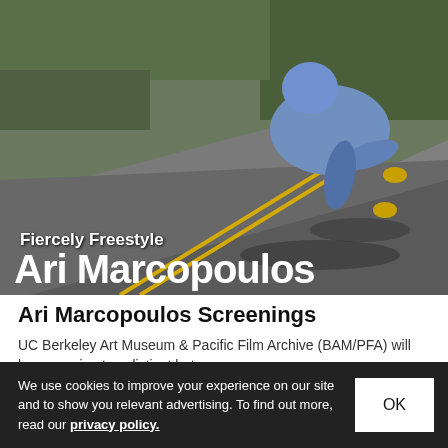[Figure (photo): A skateboarder in a blue jacket crouching low on a longboard, speeding down a curved road with yellow center lines. Trees are visible in the background. Text overlay reads 'Fiercely Freestyle' and 'Ari Marcopoulos' in bold white letters.]
Ari Marcopoulos Screenings
UC Berkeley Art Museum & Pacific Film Archive (BAM/PFA) will be screening two distinct but
Uncategorized   Nov 8, 2009   🔥 93   💬 0
We use cookies to improve your experience on our site and to show you relevant advertising. To find out more, read our privacy policy.